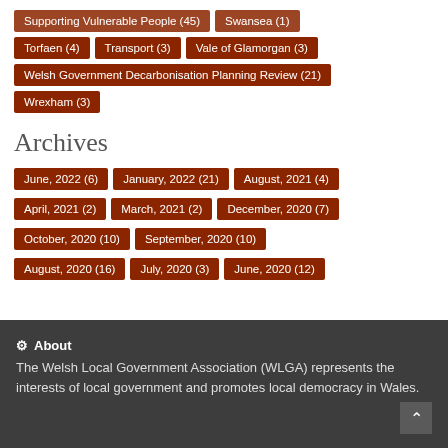Supporting Vulnerable People (45)
Swansea (1)
Torfaen (4)
Transport (3)
Vale of Glamorgan (3)
Welsh Government Decarbonisation Planning Review (21)
Wrexham (3)
Archives
June, 2022 (6)
January, 2022 (21)
August, 2021 (4)
April, 2021 (2)
March, 2021 (2)
December, 2020 (7)
October, 2020 (10)
September, 2020 (10)
August, 2020 (16)
July, 2020 (3)
June, 2020 (12)
About
The Welsh Local Government Association (WLGA) represents the interests of local government and promotes local democracy in Wales.